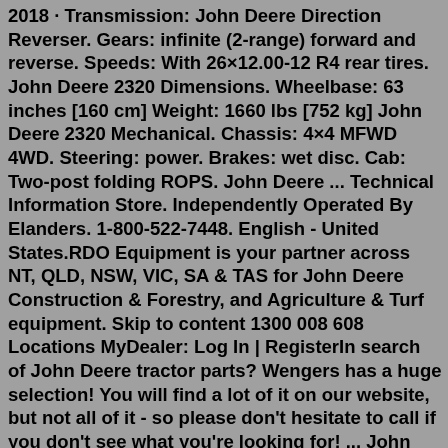2018 · Transmission: John Deere Direction Reverser. Gears: infinite (2-range) forward and reverse. Speeds: With 26×12.00-12 R4 rear tires. John Deere 2320 Dimensions. Wheelbase: 63 inches [160 cm] Weight: 1660 lbs [752 kg] John Deere 2320 Mechanical. Chassis: 4×4 MFWD 4WD. Steering: power. Brakes: wet disc. Cab: Two-post folding ROPS. John Deere ... Technical Information Store. Independently Operated By Elanders. 1-800-522-7448. English - United States.RDO Equipment is your partner across NT, QLD, NSW, VIC, SA & TAS for John Deere Construction & Forestry, and Agriculture & Turf equipment. Skip to content 1300 008 608 Locations MyDealer: Log In | RegisterIn search of John Deere tractor parts? Wengers has a huge selection! You will find a lot of it on our website, but not all of it - so please don't hesitate to call if you don't see what you're looking for! ... John Deere 2320 Parts: John Deere 2350 Parts: John Deere 2355 Parts: John Deere 2440 Parts: John Deere 2510 Parts: John Deere 2520 Parts: The John Deere 2320 still: